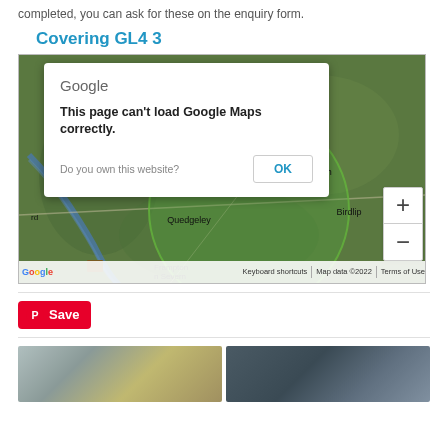completed, you can ask for these on the enquiry form.
Covering GL4 3
[Figure (map): Google Maps embed showing the GL4 3 area with a green circle overlay covering Quedgeley, Brookworth, Birdlip and Frampton on Severn. A Google Maps error dialog is shown: 'This page can't load Google Maps correctly.' with an OK button and 'Do you own this website?' text. Map data ©2022.]
[Figure (photo): Two thumbnail photos at the bottom of the page showing what appears to be construction or roofing materials/gutters.]